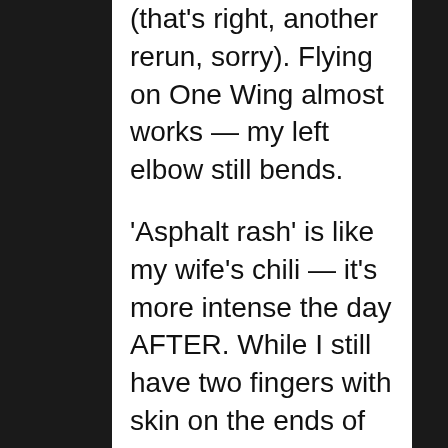(that's right, another rerun, sorry). Flying on One Wing almost works — my left elbow still bends.
'Asphalt rash' is like my wife's chili — it's more intense the day AFTER. While I still have two fingers with skin on the ends of them, the others keep getting in my way.